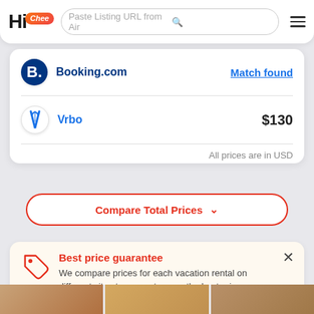[Figure (screenshot): HiChee app header with logo, search bar for Airbnb listing URL, and hamburger menu]
Booking.com
Match found
Vrbo
$130
All prices are in USD
Compare Total Prices
Best price guarantee
We compare prices for each vacation rental on different sites to guarantee you the best price.